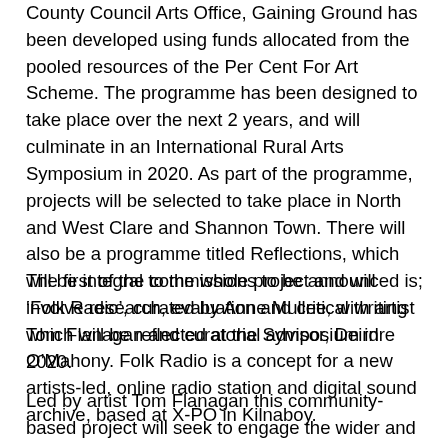County Council Arts Office, Gaining Ground has been developed using funds allocated from the pooled resources of the Per Cent For Art Scheme. The programme has been designed to take place over the next 2 years, and will culminate in an International Rural Arts Symposium in 2020. As part of the programme, projects will be selected to take place in North and West Clare and Shannon Town. There will also be a programme titled Reflections, which will be integral to the whole project and will involve research, evaluation and critical writing which will be reflected at the Symposium in 2020.
The first of the commissions to be announced is; ‘Folk Radio’, curated by Anne Mullee, with artist Tom Flanagan and curatorial advisor, Deirdre O’Mahony. Folk Radio is a concept for a new artists-led, online radio station and digital sound archive, based at X-PO in Kilnaboy.
Led by artist Tom Flanagan this community-based project will seek to engage the wider and existing communities active in and around X-PO, a former post office. Folk Radio will aim to make a series of